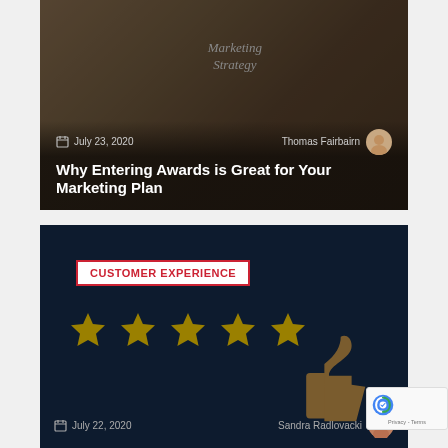[Figure (photo): Blog post card with dark overlay over a marketing strategy desk scene showing notebooks, pens, and a paper labeled 'Marketing Strategy']
July 23, 2020
Thomas Fairbairn
Why Entering Awards is Great for Your Marketing Plan
[Figure (photo): Blog post card with dark navy background showing a 'Customer Experience' category badge, five gold stars, and a thumbs-up silhouette]
CUSTOMER EXPERIENCE
July 22, 2020
Sandra Radlovacki